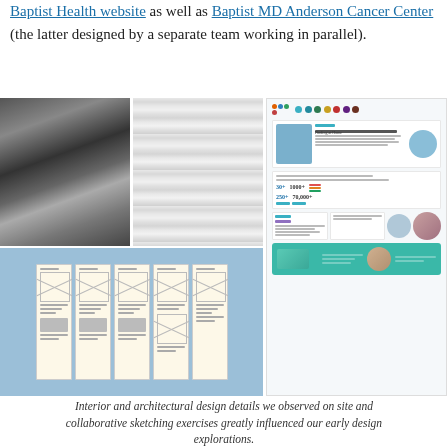Baptist Health website as well as Baptist MD Anderson Cancer Center (the latter designed by a separate team working in parallel).
[Figure (photo): Interior architectural ceiling photo showing angled structural elements with dramatic lighting]
[Figure (photo): Close-up of a white wavy textured surface with ripple pattern]
[Figure (screenshot): Baptist Health website screenshot showing homepage design with teal branding, medical imagery, statistics (30+, 1000+, 250+, 70,000+), and doctor/patient photography]
[Figure (photo): Collaborative sketching session photo showing multiple hand-drawn wireframe sketches pinned on a blue wall]
Interior and architectural design details we observed on site and collaborative sketching exercises greatly influenced our early design explorations.